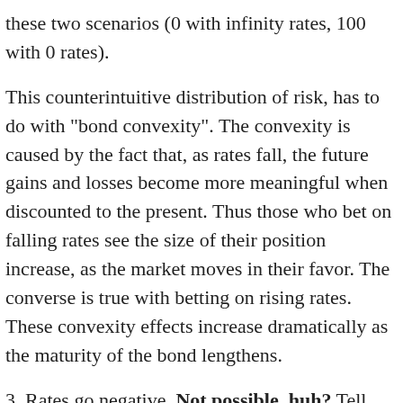these two scenarios (0 with infinity rates, 100 with 0 rates).
This counterintuitive distribution of risk, has to do with "bond convexity". The convexity is caused by the fact that, as rates fall, the future gains and losses become more meaningful when discounted to the present. Thus those who bet on falling rates see the size of their position increase, as the market moves in their favor. The converse is true with betting on rising rates. These convexity effects increase dramatically as the maturity of the bond lengthens.
3. Rates go negative. Not possible, huh? Tell this to Euroland, Switzerland and Japan. So far the negative